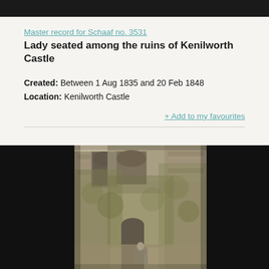Master record for Schaaf no. 3531
Lady seated among the ruins of Kenilworth Castle
Created: Between 1 Aug 1835 and 20 Feb 1848
Location: Kenilworth Castle
+ Add to my favourites
[Figure (photo): Historical photograph showing ruins of Kenilworth Castle with ivy-covered stone walls, arched doorways, and a lady seated among the ruins. Sepia-toned calotype photograph.]